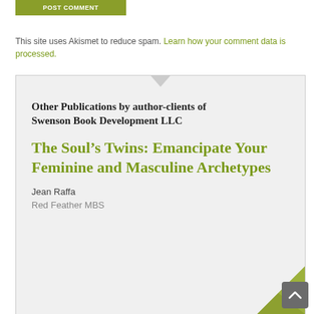POST COMMENT
This site uses Akismet to reduce spam. Learn how your comment data is processed.
Other Publications by author-clients of Swenson Book Development LLC
The Soul’s Twins: Emancipate Your Feminine and Masculine Archetypes
Jean Raffa
Red Feather MBS